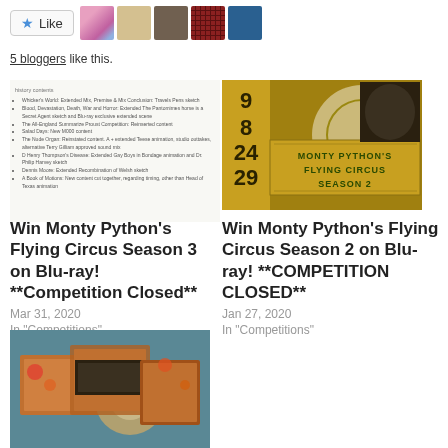[Figure (other): Like button with star icon and row of 5 blogger avatar thumbnails]
5 bloggers like this.
[Figure (screenshot): Season 3 Blu-ray special features list showing bullet points of extended content items]
[Figure (photo): Monty Python's Flying Circus Season 2 Blu-ray cover art with gold title box and film reel imagery]
Win Monty Python's Flying Circus Season 3 on Blu-ray! **Competition Closed**
Mar 31, 2020
In "Competitions"
Win Monty Python's Flying Circus Season 2 on Blu-ray! **COMPETITION CLOSED**
Jan 27, 2020
In "Competitions"
[Figure (photo): Monty Python Blu-ray box set with disc and decorative packaging visible on teal background]
John Cleese, Blu-ray…